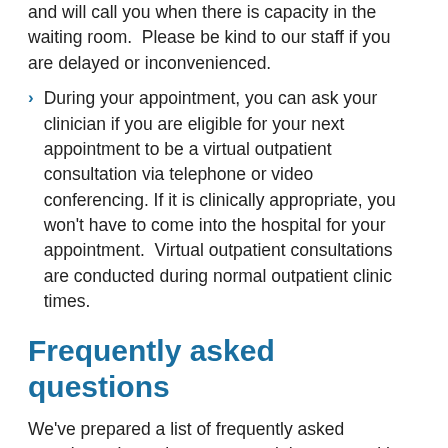and will call you when there is capacity in the waiting room.  Please be kind to our staff if you are delayed or inconvenienced.
During your appointment, you can ask your clinician if you are eligible for your next appointment to be a virtual outpatient consultation via telephone or video conferencing. If it is clinically appropriate, you won't have to come into the hospital for your appointment.  Virtual outpatient consultations are conducted during normal outpatient clinic times.
Frequently asked questions
We've prepared a list of frequently asked questions about changes you might expect with your outpatient appointment due to our response to COVID-19.
My appointment was cancelled. Will I get